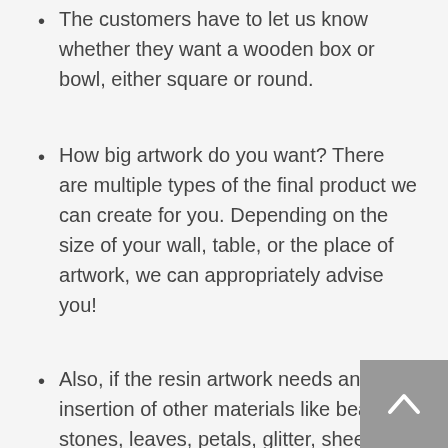The customers have to let us know whether they want a wooden box or bowl, either square or round.
How big artwork do you want? There are multiple types of the final product we can create for you. Depending on the size of your wall, table, or the place of artwork, we can appropriately advise you!
Also, if the resin artwork needs an insertion of other materials like beads, stones, leaves, petals, glitter, sheen, etc., which will accentuate the depth and uniqueness in the resin painting